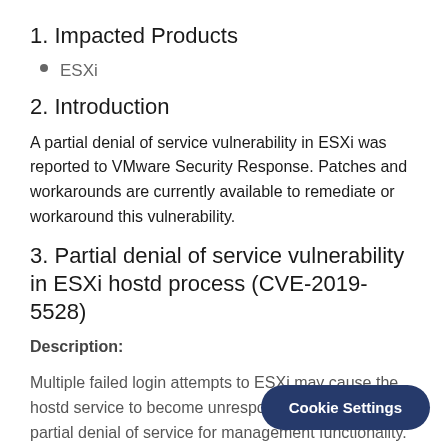1. Impacted Products
ESXi
2. Introduction
A partial denial of service vulnerability in ESXi was reported to VMware Security Response. Patches and workarounds are currently available to remediate or workaround this vulnerability.
3. Partial denial of service vulnerability in ESXi hostd process (CVE-2019-5528)
Description:
Multiple failed login attempts to ESXi may cause the hostd service to become unresponsive resulting in a partial denial of service for management functionality. VMware has evaluated the seve the Moderate severity range with